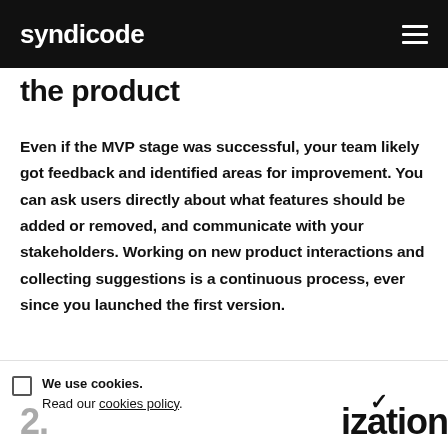syndicode
the product
Even if the MVP stage was successful, your team likely got feedback and identified areas for improvement. You can ask users directly about what features should be added or removed, and communicate with your stakeholders. Working on new product interactions and collecting suggestions is a continuous process, ever since you launched the first version.
We use cookies. Read our cookies policy.
2. optimization